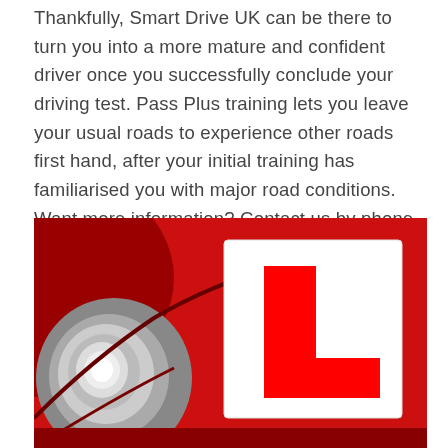Thankfully, Smart Drive UK can be there to turn you into a more mature and confident driver once you successfully conclude your driving test. Pass Plus training lets you leave your usual roads to experience other roads first hand, after your initial training has familiarised you with major road conditions. Want more information? Contact us by phone for a friendly chat about our Pass Plus scheme.
[Figure (photo): Close-up photograph of a red car bonnet/hood with a white L-plate (learner driver plate) prominently displayed. The L-plate shows a bold red L on a white square background. The car headlight is visible on the left side of the image in greyscale contrast to the red bodywork.]